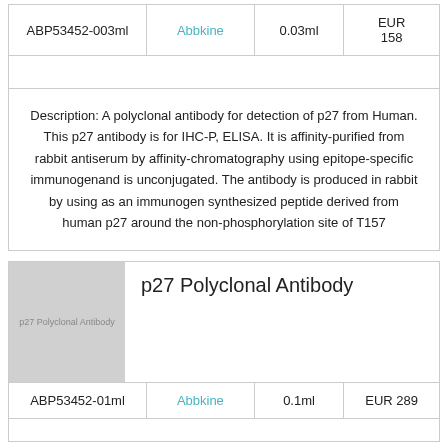| SKU | Brand | Volume | Price |
| --- | --- | --- | --- |
| ABP53452-003ml | Abbkine | 0.03ml | EUR 158 |
Description: A polyclonal antibody for detection of p27 from Human. This p27 antibody is for IHC-P, ELISA. It is affinity-purified from rabbit antiserum by affinity-chromatography using epitope-specific immunogenand is unconjugated. The antibody is produced in rabbit by using as an immunogen synthesized peptide derived from human p27 around the non-phosphorylation site of T157
[Figure (photo): Placeholder image for p27 Polyclonal Antibody product with grey background and text label]
p27 Polyclonal Antibody
| SKU | Brand | Volume | Price |
| --- | --- | --- | --- |
| ABP53452-01ml | Abbkine | 0.1ml | EUR 289 |